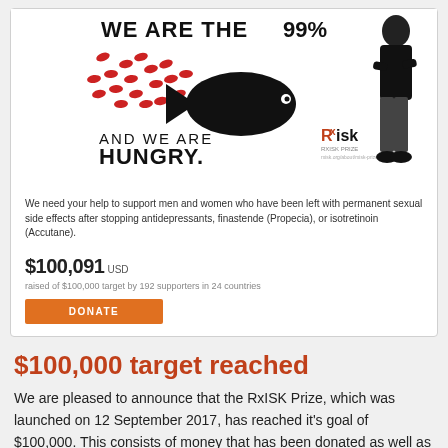[Figure (illustration): Crowdfunding campaign card image showing protest graphic with text 'WE ARE THE 99%' and 'AND WE ARE HUNGRY.' in bold lettering with small fish and large fish graphic, plus RxISK logo and a person standing in dark clothing]
We need your help to support men and women who have been left with permanent sexual side effects after stopping antidepressants, finastende (Propecia), or isotretinoin (Accutane).
$100,091 USD raised of $100,000 target by 192 supporters in 24 countries
DONATE
$100,000 target reached
We are pleased to announce that the RxISK Prize, which was launched on 12 September 2017, has reached it's goal of $100,000. This consists of money that has been donated as well as pledges